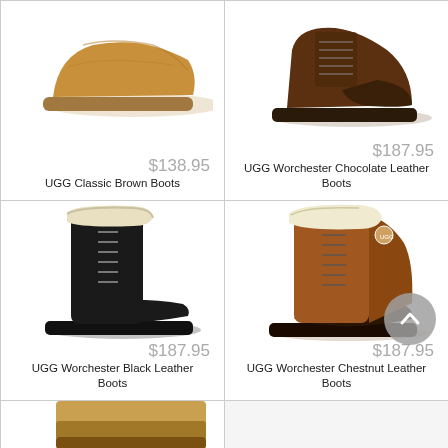[Figure (photo): UGG Classic Brown Boot, low-cut suede slip-on, chestnut/tan color]
$138.95
UGG Classic Brown Boots
[Figure (photo): UGG Worchester Chocolate Leather Boot, dark brown lace-up ankle boot]
$187.95
UGG Worchester Chocolate Leather Boots
[Figure (photo): UGG Worchester Black Leather Boot, tall black lace-up winter boot with fur cuff]
$187.95
UGG Worchester Black Leather Boots
[Figure (photo): UGG Worchester Chestnut Leather Boot, tall brown lace-up winter boot with cream fur cuff]
$187.95
UGG Worchester Chestnut Leather Boots
[Figure (photo): Partial view of a UGG boot, tan/wheat color, bottom row cut off]
[Figure (photo): Partial view of second item in bottom row, not fully visible]